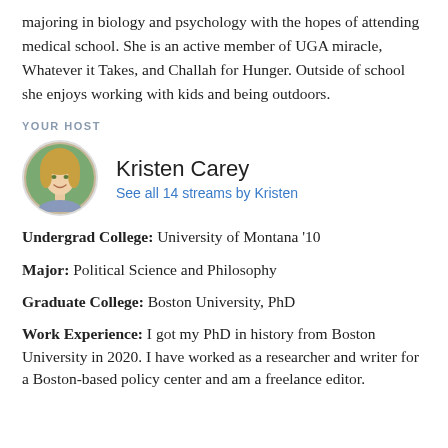majoring in biology and psychology with the hopes of attending medical school. She is an active member of UGA miracle, Whatever it Takes, and Challah for Hunger. Outside of school she enjoys working with kids and being outdoors.
YOUR HOST
[Figure (photo): Circular portrait photo of Kristen Carey, a woman with blonde hair, smiling outdoors.]
Kristen Carey
See all 14 streams by Kristen
Undergrad College: University of Montana '10
Major: Political Science and Philosophy
Graduate College: Boston University, PhD
Work Experience: I got my PhD in history from Boston University in 2020. I have worked as a researcher and writer for a Boston-based policy center and am a freelance editor.